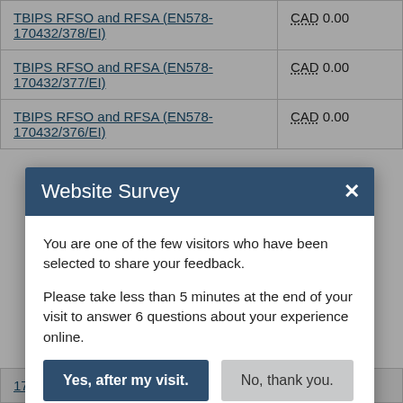| Contract/Amendment | Value |
| --- | --- |
| TBIPS RFSO and RFSA (EN578-170432/378/EI) | CAD 0.00 |
| TBIPS RFSO and RFSA (EN578-170432/377/EI) | CAD 0.00 |
| TBIPS RFSO and RFSA (EN578-170432/376/EI) | CAD 0.00 |
| 170432/400/EI) |  |
Website Survey - You are one of the few visitors who have been selected to share your feedback. Please take less than 5 minutes at the end of your visit to answer 6 questions about your experience online.